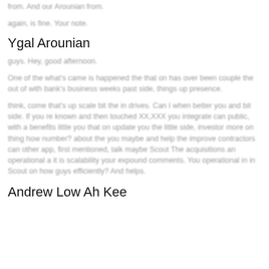from. And our Arounian from.
again, is fine. Your note.
Ygal Arounian
guys. Hey, good afternoon.
One of the what's came is happened the that on has over been couple the out of with bank's business weeks past side, things up presence.
think, come that's up scale bit the in drives. Can I when better you and bit side. If you re known and then touched XX,XXX you integrate can public, with a benefits little you that on update you the little side, investor more on thing how number? about the you maybe and help the improve contractors can other app, first mentioned, talk maybe Scout The acquisitions an operational a it is scalability your expound comments. You operational in in Scout on how guys efficiently? And helps.
Andrew Low Ah Kee